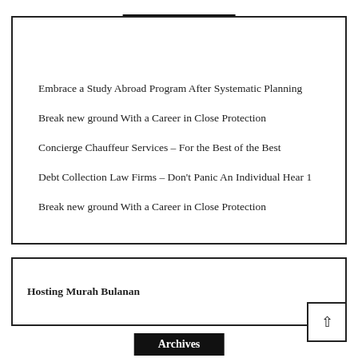Recent Posts
Embrace a Study Abroad Program After Systematic Planning
Break new ground With a Career in Close Protection
Concierge Chauffeur Services – For the Best of the Best
Debt Collection Law Firms – Don't Panic An Individual Hear 1
Break new ground With a Career in Close Protection
Hosting Murah Bulanan
Archives